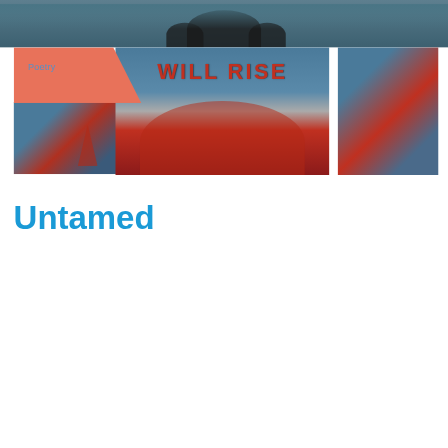[Figure (photo): Dark blurred photo at top showing what appears to be hands or figure against teal/dark background]
[Figure (photo): Mosaic tile mural showing 'WILL RISE' text in red tiles against blue-grey tile background, displayed in three panels with a salmon/orange diagonal Poetry tag label overlay on the left panel]
Poetry
Untamed